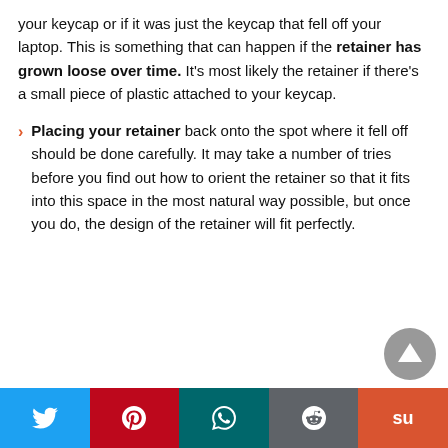your keycap or if it was just the keycap that fell off your laptop. This is something that can happen if the retainer has grown loose over time. It's most likely the retainer if there's a small piece of plastic attached to your keycap.
Placing your retainer back onto the spot where it fell off should be done carefully. It may take a number of tries before you find out how to orient the retainer so that it fits into this space in the most natural way possible, but once you do, the design of the retainer will fit perfectly.
Social share bar: Twitter, Pinterest, WhatsApp, Reddit, StumbleUpon